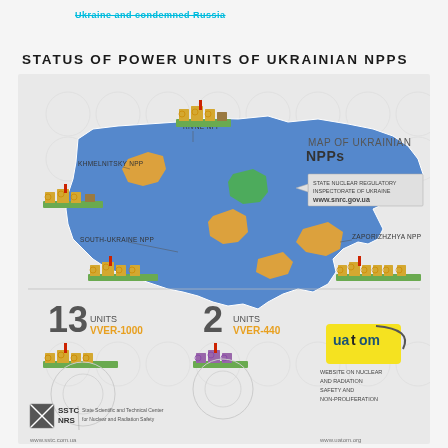Ukraine and condemned Russia
STATUS OF POWER UNITS OF UKRAINIAN NPPS
[Figure (map): Map of Ukrainian NPPs showing locations of Rivne NPP, Khmelnitsky NPP, South-Ukraine NPP, Zaporizhzhya NPP on a stylized map of Ukraine. Bottom section shows 13 Units VVER-1000 and 2 Units VVER-440. Logos for SSTC NRS and uatom shown. Website www.snrc.gov.ua referenced. State Nuclear Regulatory Inspectorate of Ukraine label. Website on Nuclear and Radiation Safety and Non-Proliferation noted.]